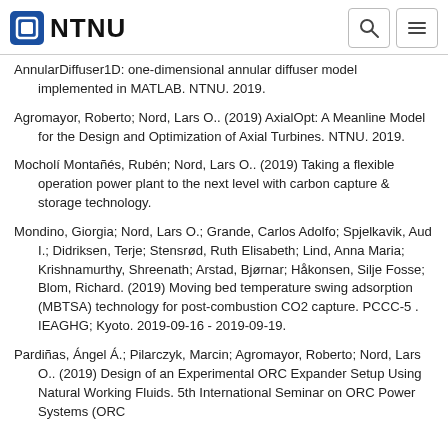NTNU
AnnularDiffuser1D: one-dimensional annular diffuser model implemented in MATLAB. NTNU. 2019.
Agromayor, Roberto; Nord, Lars O.. (2019) AxialOpt: A Meanline Model for the Design and Optimization of Axial Turbines. NTNU. 2019.
Mocholí Montañés, Rubén; Nord, Lars O.. (2019) Taking a flexible operation power plant to the next level with carbon capture & storage technology.
Mondino, Giorgia; Nord, Lars O.; Grande, Carlos Adolfo; Spjelkavik, Aud I.; Didriksen, Terje; Stensrød, Ruth Elisabeth; Lind, Anna Maria; Krishnamurthy, Shreenath; Arstad, Bjørnar; Håkonsen, Silje Fosse; Blom, Richard. (2019) Moving bed temperature swing adsorption (MBTSA) technology for post-combustion CO2 capture. PCCC-5 . IEAGHG; Kyoto. 2019-09-16 - 2019-09-19.
Pardiñas, Ángel Á.; Pilarczyk, Marcin; Agromayor, Roberto; Nord, Lars O.. (2019) Design of an Experimental ORC Expander Setup Using Natural Working Fluids. 5th International Seminar on ORC Power Systems (ORC